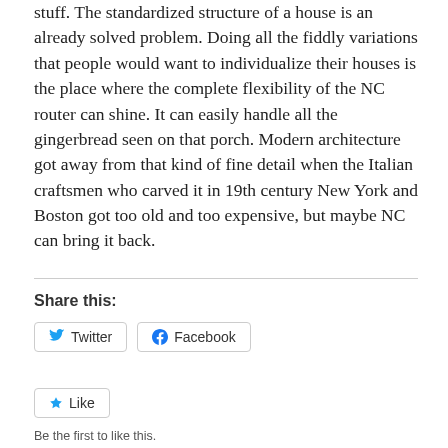stuff. The standardized structure of a house is an already solved problem. Doing all the fiddly variations that people would want to individualize their houses is the place where the complete flexibility of the NC router can shine. It can easily handle all the gingerbread seen on that porch. Modern architecture got away from that kind of fine detail when the Italian craftsmen who carved it in 19th century New York and Boston got too old and too expensive, but maybe NC can bring it back.
Share this:
[Figure (other): Twitter and Facebook share buttons, and a Like button with 'Be the first to like this.' caption]